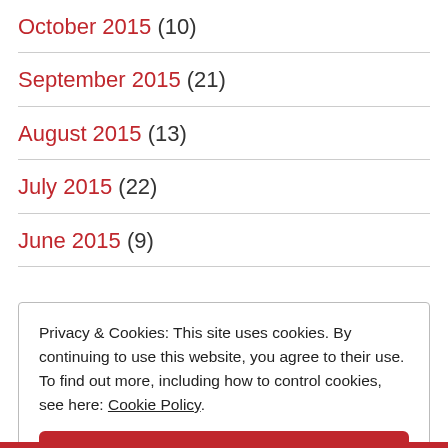October 2015 (10)
September 2015 (21)
August 2015 (13)
July 2015 (22)
June 2015 (9)
Privacy & Cookies: This site uses cookies. By continuing to use this website, you agree to their use. To find out more, including how to control cookies, see here: Cookie Policy.
Close and accept